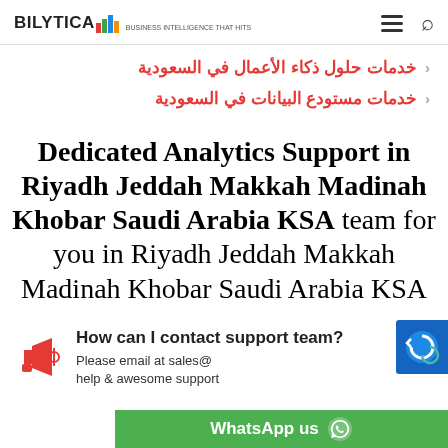BILYTICA [logo with bar chart icon] — hamburger menu, search icon
خدمات حلول ذكاء الأعمال في السعودية
خدمات مستودع البيانات في السعودية
Dedicated Analytics Support in Riyadh Jeddah Makkah Madinah Khobar Saudi Arabia KSA team for you in Riyadh Jeddah Makkah Madinah Khobar Saudi Arabia KSA
How can I contact support team?
Please email at sales@ help & awesome support
WhatsApp us